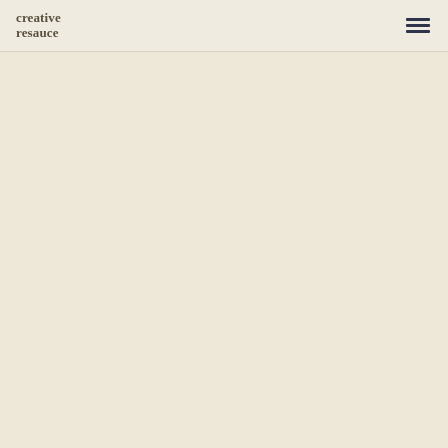creative resauce
[Figure (logo): Creative Resauce logo — bold serif lowercase text reading 'creative' on first line and 'resauce' on second line, in dark brown color]
[Figure (other): Hamburger menu icon — three horizontal dark navy lines stacked vertically]